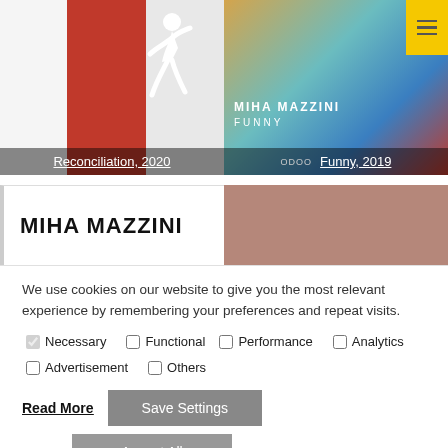[Figure (screenshot): Book cover for 'Reconciliation, 2020' showing a red and grey background with a white running figure silhouette]
Reconciliation, 2020
[Figure (screenshot): Book cover for 'Funny, 2019' by Miha Mazzini showing colorful abstract art with a face]
Funny, 2019
[Figure (screenshot): Partial view of another book cover area showing 'MIHA MAZZINI' text and a reddish-brown map-like image]
We use cookies on our website to give you the most relevant experience by remembering your preferences and repeat visits.
Necessary  Functional  Performance  Analytics  Advertisement  Others
Read More
Save Settings
Accept All